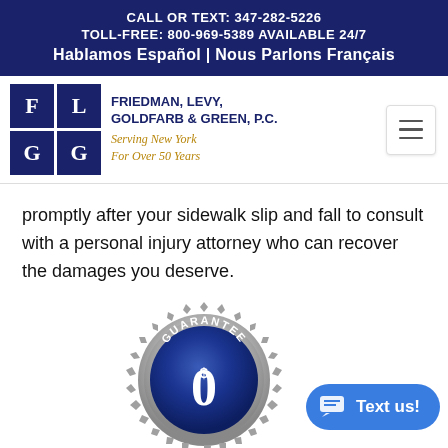CALL OR TEXT: 347-282-5226 TOLL-FREE: 800-969-5389 AVAILABLE 24/7 Hablamos Español | Nous Parlons Français
[Figure (logo): Friedman, Levy, Goldfarb & Green, P.C. law firm logo with F L G G letter grid and tagline Serving New York For Over 50 Years]
promptly after your sidewalk slip and fall to consult with a personal injury attorney who can recover the damages you deserve.
[Figure (illustration): A silver and blue guarantee badge/seal showing '$0 GUARANTEE' text, partially cropped at the bottom of the page. A blue 'Text us!' chat button appears in the bottom right corner.]